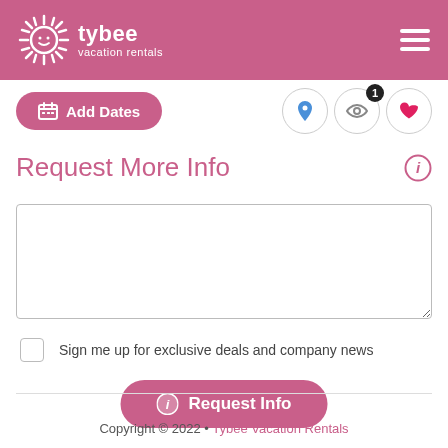tybee vacation rentals
Request More Info
Sign me up for exclusive deals and company news
Copyright © 2022 • Tybee Vacation Rentals